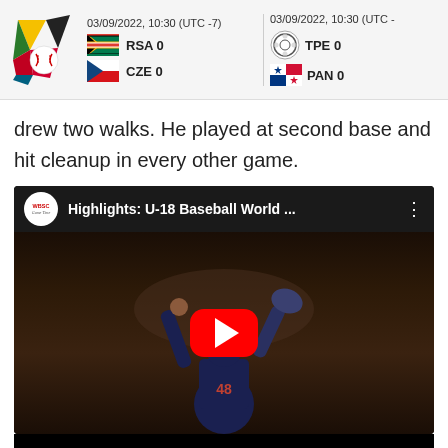03/09/2022, 10:30 (UTC -7) RSA 0 CZE 0 | 03/09/2022, 10:30 (UTC -) TPE 0 PAN 0
drew two walks. He played at second base and hit cleanup in every other game.
[Figure (screenshot): YouTube video embed showing 'Highlights: U-18 Baseball World ...' with WBSC channel icon, a baseball player celebrating with fists raised wearing number 48 jersey, and a red YouTube play button overlay.]